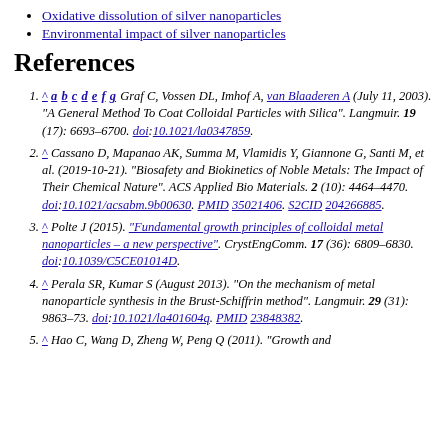Oxidative dissolution of silver nanoparticles
Environmental impact of silver nanoparticles
References
^ a b c d e f g Graf C, Vossen DL, Imhof A, van Blaaderen A (July 11, 2003). "A General Method To Coat Colloidal Particles with Silica". Langmuir. 19 (17): 6693–6700. doi:10.1021/la0347859.
^ Cassano D, Mapanao AK, Summa M, Vlamidis Y, Giannone G, Santi M, et al. (2019-10-21). "Biosafety and Biokinetics of Noble Metals: The Impact of Their Chemical Nature". ACS Applied Bio Materials. 2 (10): 4464–4470. doi:10.1021/acsabm.9b00630. PMID 35021406. S2CID 204266885.
^ Polte J (2015). "Fundamental growth principles of colloidal metal nanoparticles – a new perspective". CrystEngComm. 17 (36): 6809–6830. doi:10.1039/C5CE01014D.
^ Perala SR, Kumar S (August 2013). "On the mechanism of metal nanoparticle synthesis in the Brust-Schiffrin method". Langmuir. 29 (31): 9863–73. doi:10.1021/la401604q. PMID 23848382.
^ Hao C, Wang D, Zheng W, Peng Q (2011). "Growth and ..."